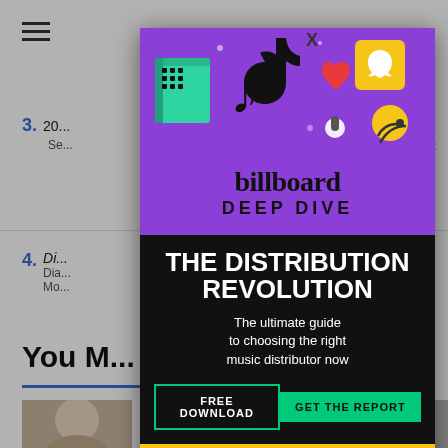[Figure (screenshot): Background webpage with hamburger menu, numbered list items (3, 4), 'You' heading, and partial photo]
[Figure (infographic): Billboard Deep Dive advertisement modal overlay for 'The Distribution Revolution' report. Purple top section with social media app icons illustration. Billboard logo and 'DEEP DIVE' text. Black section with headline 'THE DISTRIBUTION REVOLUTION', subtext 'The ultimate guide to choosing the right music distributor now', two buttons: 'FREE DOWNLOAD' and 'GET THE REPORT'. Yellow bottom strip with 'JUST $45 RIGHT NOW' and partial SPY logo.]
THE DISTRIBUTION REVOLUTION
The ultimate guide to choosing the right music distributor now
FREE DOWNLOAD
GET THE REPORT
JUST $45 RIGHT NOW